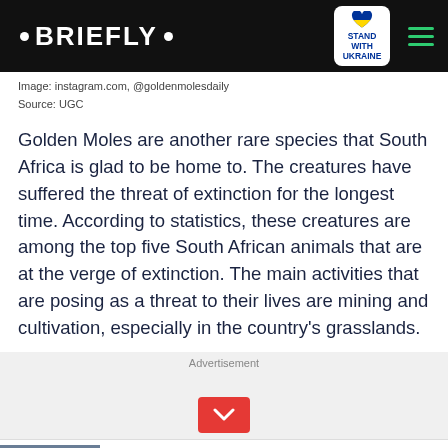• BRIEFLY •
Image: instagram.com, @goldenmolesdaily
Source: UGC
Golden Moles are another rare species that South Africa is glad to be home to. The creatures have suffered the threat of extinction for the longest time. According to statistics, these creatures are among the top five South African animals that are at the verge of extinction. The main activities that are posing as a threat to their lives are mining and cultivation, especially in the country's grasslands.
Advertisement
Help Protect Ukrainian Families
DONATE NOW